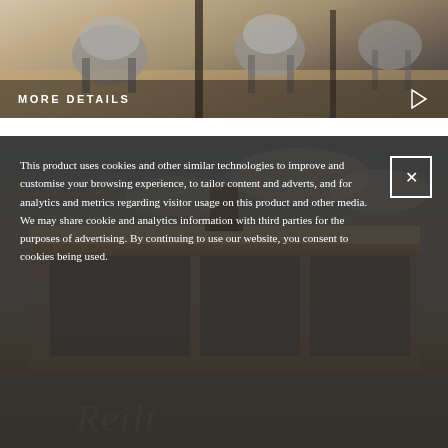[Figure (photo): Top portion of a property listing page showing dining area with chairs, with a dark bar at bottom containing 'MORE DETAILS' text and a play/arrow button]
MORE DETAILS
[Figure (photo): Modern flat-roofed residential building with large glass windows against a cloudy blue sky, with 'Reilt' watermark text]
This product uses cookies and other similar technologies to improve and customise your browsing experience, to tailor content and adverts, and for analytics and metrics regarding visitor usage on this product and other media. We may share cookie and analytics information with third parties for the purposes of advertising. By continuing to use our website, you consent to cookies being used.